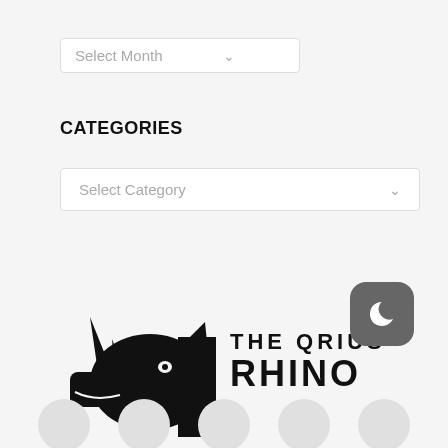Select Month
CATEGORIES
Select Category
[Figure (logo): The Qrius Rhino logo featuring a black rhinoceros head silhouette on the left and the text 'THE QRIUS RHINO' in bold uppercase letters on the right]
[Figure (illustration): Dark mode toggle button - a rounded square icon with a crescent moon symbol in white on a dark gray background]